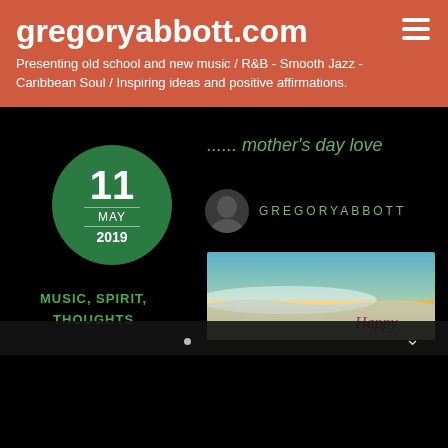gregoryabbott.com
Presenting old school and new music / R&B - Smooth Jazz - Caribbean Soul / Inspiring ideas and positive affirmations.
[Figure (screenshot): Website screenshot showing a blog post dated 11 May 2019 titled '...... mother's day love' by GREGORYABBOTT, with a beach/ocean image and categories MUSIC, SPIRIT, THOUGHTS on a black background]
...... mother's day love
GREGORYABBOTT
MUSIC, SPIRIT, THOUGHTS
Happy